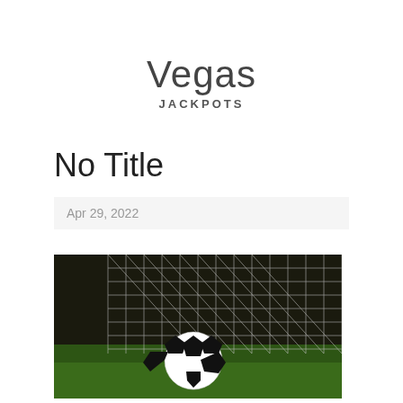Vegas JACKPOTS
No Title
Apr 29, 2022
[Figure (photo): A soccer ball hitting a goal net, photographed close-up with green grass visible in background]